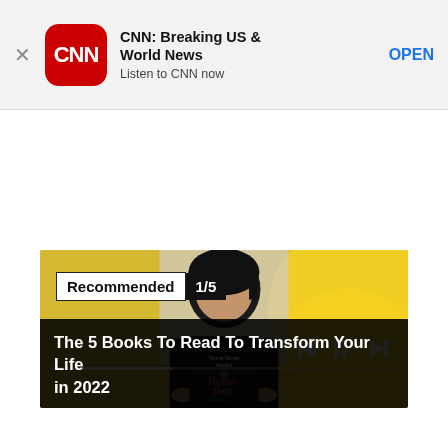[Figure (screenshot): CNN app advertisement banner with red CNN logo icon, app name 'CNN: Breaking US & World News', subtitle 'Listen to CNN now', and OPEN button]
[Figure (photo): A person holding up a copy of 'Homo Deus' by Yuval Noah Harari in front of their face, with yellow decorative background, media player controls, progress bar, and title overlay 'The 5 Books To Read To Transform Your Life in 2022'. A 'Recommended 1/5' badge is in the top-left corner.]